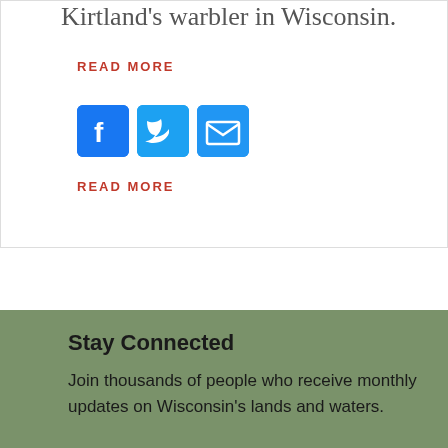Kirtland's warbler in Wisconsin.
READ MORE
[Figure (infographic): Social share icons: Facebook (blue rounded square with F), Twitter (blue rounded square with bird), Email (blue rounded square with envelope)]
READ MORE
Stay Connected
Join thousands of people who receive monthly updates on Wisconsin's lands and waters.